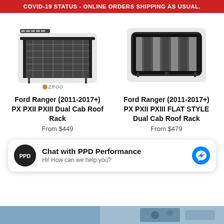COVID-19 STATUS - ONLINE ORDERS SHIPPING AS USUAL.
[Figure (photo): Black steel roof rack for Ford Ranger, angled view showing mesh platform and rails, with OZROO logo below]
Ford Ranger (2011-2017+) PX PXII PXIII Dual Cab Roof Rack
From $449
[Figure (photo): Black flat-style steel roof rack for Ford Ranger, angled top-down view showing flat surface and perimeter rail]
Ford Ranger (2011-2017+) PX PXII PXIII FLAT STYLE Dual Cab Roof Rack
From $479
Chat with PPD Performance
Hi! How can we help you?